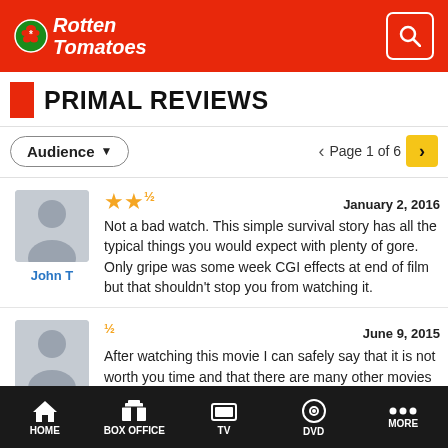Rotten Tomatoes
PRIMAL REVIEWS
Audience  ▼   Page 1 of 6
[Figure (illustration): User avatar placeholder (gray silhouette) for reviewer John T]
John T
★★½   January 2, 2016
Not a bad watch. This simple survival story has all the typical things you would expect with plenty of gore. Only gripe was some week CGI effects at end of film but that shouldn't stop you from watching it.
[Figure (illustration): User avatar placeholder (gray silhouette) for reviewer Stephen T]
Stephen T
½   June 9, 2015
After watching this movie I can safely say that it is not worth you time and that there are many other movies out there that
HOME  BOX OFFICE  TV  DVD  MORE